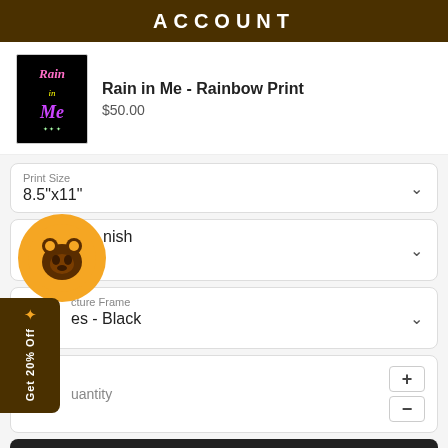ACCOUNT
[Figure (photo): Product thumbnail: Rain in Me - Rainbow Print art, black background with colorful neon-style lettering]
Rain in Me - Rainbow Print
$50.00
Print Size
8.5"x11"
nish
Picture Frame
es - Black
Quantity
Add to cart
[Figure (logo): Orange circle bear logo badge]
Get 20% Off